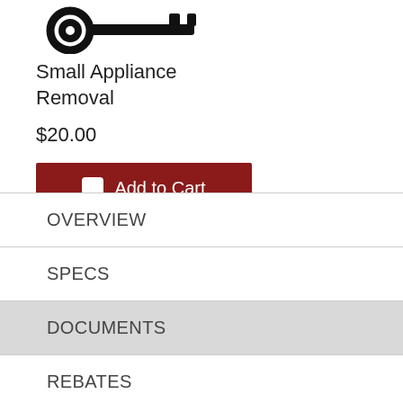[Figure (illustration): Icon of a wrench/key tool indicating appliance removal service]
Small Appliance Removal
$20.00
Add to Cart
OVERVIEW
SPECS
DOCUMENTS
REBATES